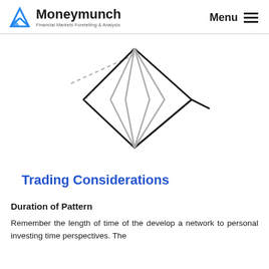Moneymunch — Financial Markets Foretelling & Analysis | Menu
[Figure (schematic): Diamond top chart pattern diagram showing a broadening formation that narrows to a point at the bottom, with inner zigzag lines and a dashed line extending to the upper left indicating trend direction.]
Trading Considerations
Duration of Pattern
Remember the length of time of the develop a network to personal investing time perspectives. The